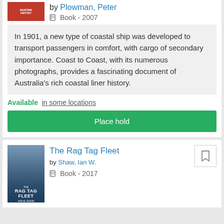by Plowman, Peter
Book - 2007
In 1901, a new type of coastal ship was developed to transport passengers in comfort, with cargo of secondary importance. Coast to Coast, with its numerous photographs, provides a fascinating document of Australia's rich coastal liner history.
Available in some locations
Place hold
The Rag Tag Fleet
by Shaw, Ian W.
Book - 2017